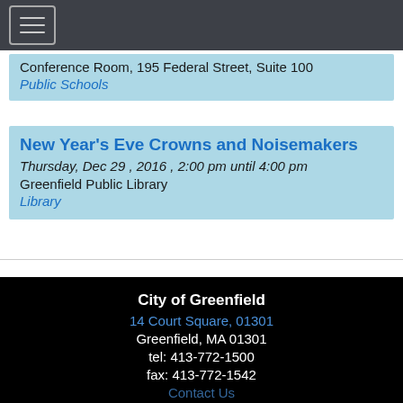[navigation menu icon]
Conference Room, 195 Federal Street, Suite 100
Public Schools
New Year's Eve Crowns and Noisemakers
Thursday, Dec 29 , 2016 , 2:00 pm until 4:00 pm
Greenfield Public Library
Library
City of Greenfield
14 Court Square, 01301
Greenfield, MA 01301
tel: 413-772-1500
fax: 413-772-1542